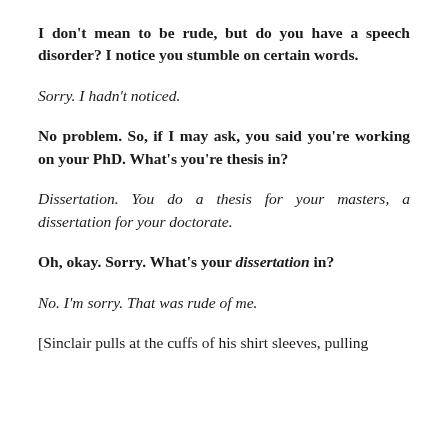I don't mean to be rude, but do you have a speech disorder? I notice you stumble on certain words.
Sorry. I hadn't noticed.
No problem. So, if I may ask, you said you're working on your PhD. What's you're thesis in?
Dissertation. You do a thesis for your masters, a dissertation for your doctorate.
Oh, okay. Sorry. What's your dissertation in?
No. I'm sorry. That was rude of me.
[Sinclair pulls at the cuffs of his shirt sleeves, pulling